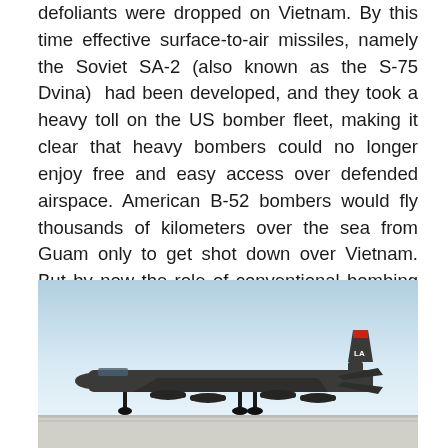defoliants were dropped on Vietnam. By this time effective surface-to-air missiles, namely the Soviet SA-2 (also known as the S-75 Dvina)  had been developed, and they took a heavy toll on the US bomber fleet, making it clear that heavy bombers could no longer enjoy free and easy access over defended airspace. American B-52 bombers would fly thousands of kilometers over the sea from Guam only to get shot down over Vietnam. But by now the role of conventional bombing by long-range, heavy bombers had been re-established.
[Figure (photo): A B-52 Stratofortress bomber aircraft on the ground or taxiing, showing the large dark fuselage with 'LA' tail markings and red tail cap, against a light blue sky.]